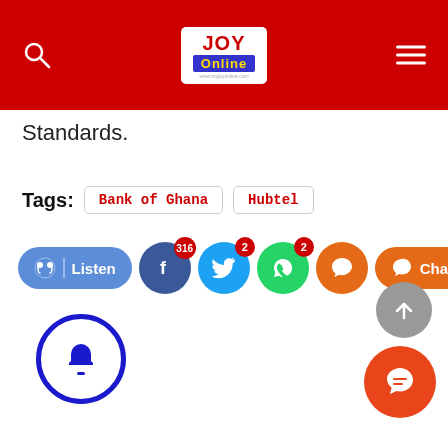Joy Online
Standards.
Tags: Bank of Ghana  Hubtel
[Figure (screenshot): Social sharing buttons row: Listen, Facebook (316), Twitter (2), WhatsApp (2), Comment, Chat, Share buttons]
[Figure (screenshot): Scroll-to-top grey circle button with upward arrow]
[Figure (screenshot): Orange chat FAB button]
[Figure (screenshot): Blue bell notification circle button]